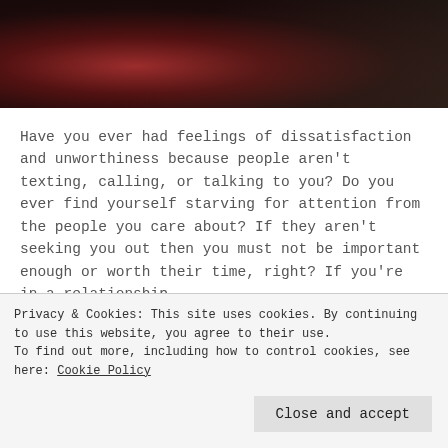[Figure (photo): Dark blurry photo with reddish circular light element, dark background suggestive of nighttime or indoor low-light scene]
Have you ever had feelings of dissatisfaction and unworthiness because people aren’t texting, calling, or talking to you? Do you ever find yourself starving for attention from the people you care about? If they aren’t seeking you out then you must not be important enough or worth their time, right? If you're in a relationship,...
Continue Reading →
Privacy & Cookies: This site uses cookies. By continuing to use this website, you agree to their use.
To find out more, including how to control cookies, see here: Cookie Policy
Close and accept